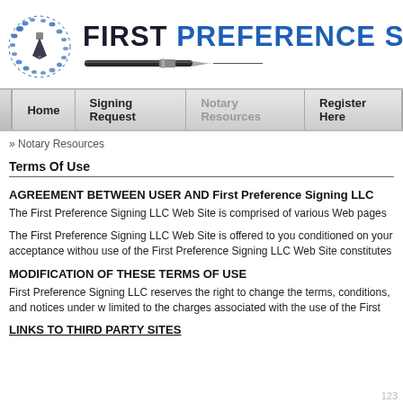[Figure (logo): First Preference Signing LLC logo: circular blue dotted globe/pen icon on left, large bold text 'FIRST PREFERENCE SIGN' on right with pen image and horizontal line beneath]
[Figure (screenshot): Navigation bar with menu items: Home, Signing Request, Notary Resources (active), Register Here]
» Notary Resources
Terms Of Use
AGREEMENT BETWEEN USER AND First Preference Signing LLC
The First Preference Signing LLC Web Site is comprised of various Web pages operated by First Pre...
The First Preference Signing LLC Web Site is offered to you conditioned on your acceptance without... use of the First Preference Signing LLC Web Site constitutes your agreement to all such terms, cond...
MODIFICATION OF THESE TERMS OF USE
First Preference Signing LLC reserves the right to change the terms, conditions, and notices under w... limited to the charges associated with the use of the First Preference Signing LLC Web Site.
LINKS TO THIRD PARTY SITES
123